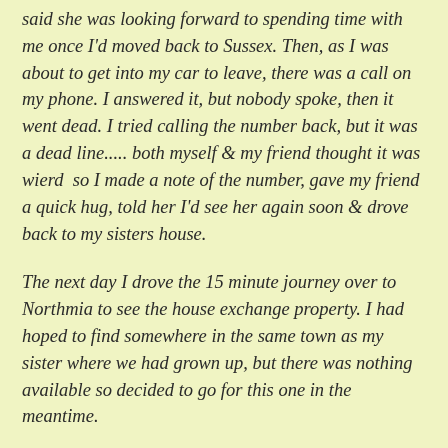said she was looking forward to spending time with me once I'd moved back to Sussex. Then, as I was about to get into my car to leave, there was a call on my phone. I answered it, but nobody spoke, then it went dead. I tried calling the number back, but it was a dead line..... both myself & my friend thought it was wierd  so I made a note of the number, gave my friend a quick hug, told her I'd see her again soon & drove back to my sisters house.
The next day I drove the 15 minute journey over to Northmia to see the house exchange property. I had hoped to find somewhere in the same town as my sister where we had grown up, but there was nothing available so decided to go for this one in the meantime.
I just wanted to put an end, once & for all , to the relentless harassment, hatred & stalking. It was too much for me to cope with at my age, especially after all the abuse